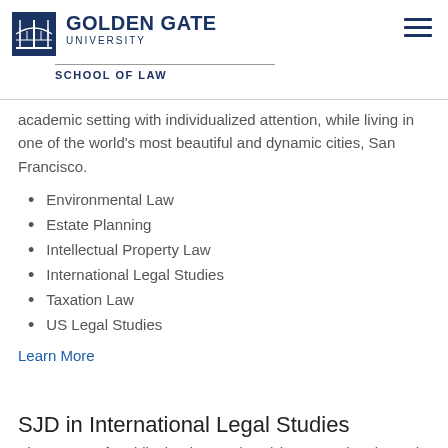GOLDEN GATE UNIVERSITY — SCHOOL OF LAW
academic setting with individualized attention, while living in one of the world's most beautiful and dynamic cities, San Francisco.
Environmental Law
Estate Planning
Intellectual Property Law
International Legal Studies
Taxation Law
US Legal Studies
Learn More
SJD in International Legal Studies
The Doctor of Juridical Sciences (SJD) in International Legal Studies is designed to give